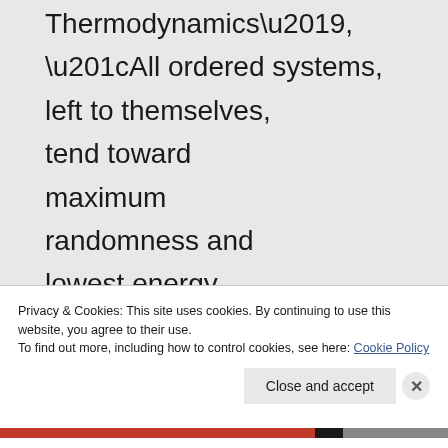Thermodynamics’, “All ordered systems, left to themselves, tend toward maximum randomness and lowest energy (potential or differential)”. That means that order naturally tends to
Privacy & Cookies: This site uses cookies. By continuing to use this website, you agree to their use.
To find out more, including how to control cookies, see here: Cookie Policy